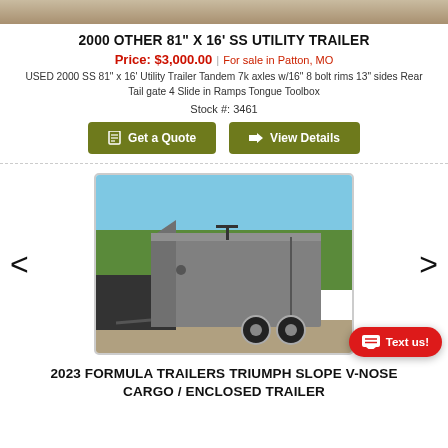[Figure (photo): Top cropped image strip of a trailer or gravel surface]
2000 OTHER 81" X 16' SS UTILITY TRAILER
Price: $3,000.00 | For sale in Patton, MO
USED 2000 SS 81" x 16' Utility Trailer Tandem 7k axles w/16" 8 bolt rims 13" sides Rear Tail gate 4 Slide in Ramps Tongue Toolbox
Stock #: 3461
[Figure (screenshot): Get a Quote and View Details buttons]
[Figure (photo): Enclosed cargo trailer (gray/silver) with tandem axles shown on gravel lot with trees in background. Carousel navigation arrows on sides. Text us button overlay.]
2023 FORMULA TRAILERS TRIUMPH SLOPE V-NOSE CARGO / ENCLOSED TRAILER